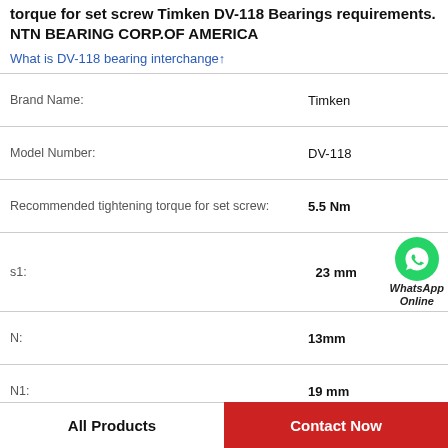torque for set screw Timken DV-118 Bearings requirements. NTN BEARING CORP.OF AMERICA
What is DV-118 bearing interchange↑
| Property | Value |
| --- | --- |
| Brand Name: | Timken |
| Model Number: | DV-118 |
| Recommended tightening torque for set screw: | 5.5 Nm |
| s1: | 23 mm |
| N: | 13mm |
| N1: | 19 mm |
| C0: | 4.78 kN |
| C: | 9.55 kN |
[Figure (logo): WhatsApp contact button with green phone icon and 'WhatsApp Online' text]
All Products
Contact Now